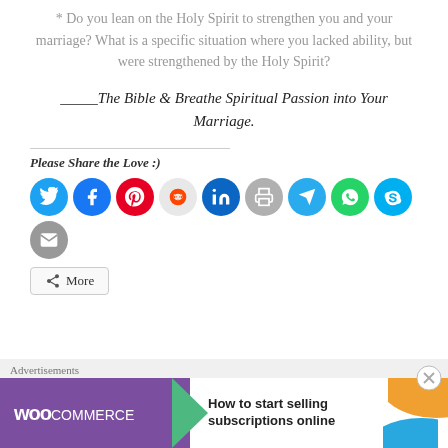* Do you lean on the Holy Spirit to strengthen you and your marriage? What is a specific situation where you lacked ability, but were strengthened by the Holy Spirit?
_____The Bible & Breathe Spiritual Passion into Your Marriage.
Please Share the Love :)
[Figure (infographic): Social share buttons row: Twitter, Facebook, Pinterest, Reddit, LinkedIn, Print, Telegram, WhatsApp, Skype, Email icons, plus a More button]
[Figure (infographic): WooCommerce advertisement banner at bottom of page with text: How to start selling subscriptions online]